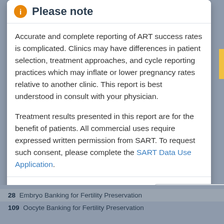Please note
Accurate and complete reporting of ART success rates is complicated. Clinics may have differences in patient selection, treatment approaches, and cycle reporting practices which may inflate or lower pregnancy rates relative to another clinic. This report is best understood in consult with your physician.
Treatment results presented in this report are for the benefit of patients. All commercial uses require expressed written permission from SART. To request such consent, please complete the SART Data Use Application.
I agree to the limitations on use of the data in this report and agree to abide by the SART Website Terms and Conditions of Use.
28 Embryo Banking for Fertility Preservation
109 Oocyte Banking for Fertility Preservation